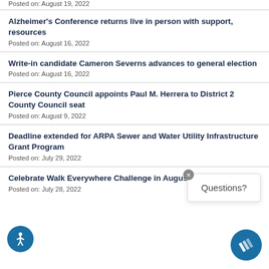Posted on: August 19, 2022
Alzheimer's Conference returns live in person with support, resources
Posted on: August 16, 2022
Write-in candidate Cameron Severns advances to general election
Posted on: August 16, 2022
Pierce County Council appoints Paul M. Herrera to District 2 County Council seat
Posted on: August 9, 2022
Deadline extended for ARPA Sewer and Water Utility Infrastructure Grant Program
Posted on: July 29, 2022
Celebrate Walk Everywhere Challenge in August with Pierce Trips
Posted on: July 28, 2022